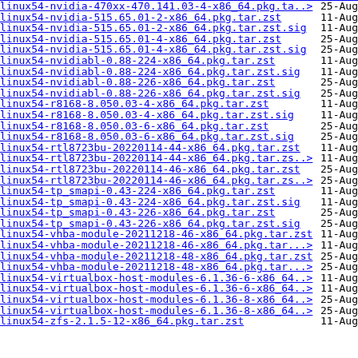linux54-nvidia-470xx-470.141.03-4-x86_64.pkg.ta..> 25-Aug
linux54-nvidia-515.65.01-2-x86_64.pkg.tar.zst 11-Aug
linux54-nvidia-515.65.01-2-x86_64.pkg.tar.zst.sig 11-Aug
linux54-nvidia-515.65.01-4-x86_64.pkg.tar.zst 25-Aug
linux54-nvidia-515.65.01-4-x86_64.pkg.tar.zst.sig 25-Aug
linux54-nvidiabl-0.88-224-x86_64.pkg.tar.zst 11-Aug
linux54-nvidiabl-0.88-224-x86_64.pkg.tar.zst.sig 11-Aug
linux54-nvidiabl-0.88-226-x86_64.pkg.tar.zst 25-Aug
linux54-nvidiabl-0.88-226-x86_64.pkg.tar.zst.sig 25-Aug
linux54-r8168-8.050.03-4-x86_64.pkg.tar.zst 11-Aug
linux54-r8168-8.050.03-4-x86_64.pkg.tar.zst.sig 11-Aug
linux54-r8168-8.050.03-6-x86_64.pkg.tar.zst 25-Aug
linux54-r8168-8.050.03-6-x86_64.pkg.tar.zst.sig 25-Aug
linux54-rtl8723bu-20220114-44-x86_64.pkg.tar.zst 11-Aug
linux54-rtl8723bu-20220114-44-x86_64.pkg.tar.zs..> 11-Aug
linux54-rtl8723bu-20220114-46-x86_64.pkg.tar.zst 25-Aug
linux54-rtl8723bu-20220114-46-x86_64.pkg.tar.zs..> 25-Aug
linux54-tp_smapi-0.43-224-x86_64.pkg.tar.zst 11-Aug
linux54-tp_smapi-0.43-224-x86_64.pkg.tar.zst.sig 11-Aug
linux54-tp_smapi-0.43-226-x86_64.pkg.tar.zst 25-Aug
linux54-tp_smapi-0.43-226-x86_64.pkg.tar.zst.sig 25-Aug
linux54-vhba-module-20211218-46-x86_64.pkg.tar.zst 11-Aug
linux54-vhba-module-20211218-46-x86_64.pkg.tar...> 11-Aug
linux54-vhba-module-20211218-48-x86_64.pkg.tar.zst 25-Aug
linux54-vhba-module-20211218-48-x86_64.pkg.tar...> 25-Aug
linux54-virtualbox-host-modules-6.1.36-6-x86_64..> 11-Aug
linux54-virtualbox-host-modules-6.1.36-6-x86_64..> 11-Aug
linux54-virtualbox-host-modules-6.1.36-8-x86_64..> 25-Aug
linux54-virtualbox-host-modules-6.1.36-8-x86_64..> 25-Aug
linux54-zfs-2.1.5-12-x86_64.pkg.tar.zst 11-Aug